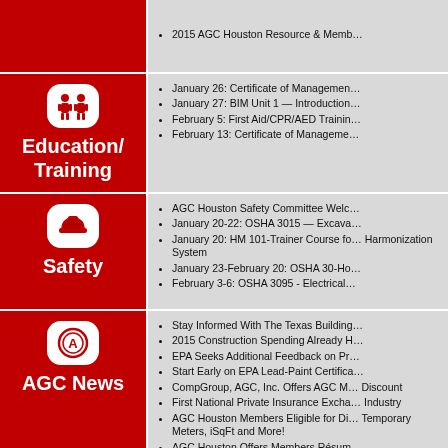2015 AGC Houston Resource & Memb…
Education/Training
January 26: Certificate of Management…
January 27: BIM Unit 1 — Introduction…
February 5: First Aid/CPR/AED Training…
February 13: Certificate of Management…
Safety
AGC Houston Safety Committee Welc…
January 20-22: OSHA 3015 — Excava…
January 20: HM 101-Trainer Course for Harmonization System
January 23-February 20: OSHA 30-Ho…
February 3-6: OSHA 3095 - Electrical…
AGC News
Stay Informed With The Texas Building…
2015 Construction Spending Already H…
EPA Seeks Additional Feedback on Pr…
Start Early on EPA Lead-Paint Certifica…
CompGroup, AGC, Inc. Offers AGC M… Discount
First National Private Insurance Excha… Industry
AGC Houston Members Eligible for Di… Temporary Meters, iSqFt and More!
AGC Houston Offers Members Résum…
Texas Construction Career Opportunit…